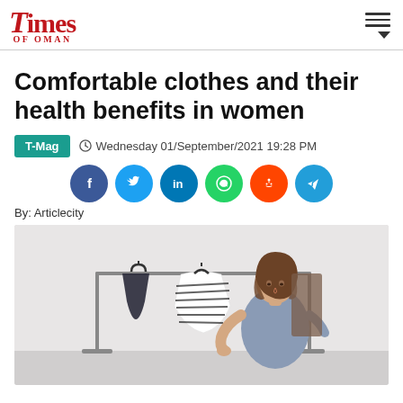Times of Oman
Comfortable clothes and their health benefits in women
T-Mag  Wednesday 01/September/2021 19:28 PM
[Figure (infographic): Social media share icons: Facebook, Twitter, LinkedIn, WhatsApp, Reddit, Telegram]
By: Articlecity
[Figure (photo): Woman looking at striped clothing on a clothing rack with hangers]